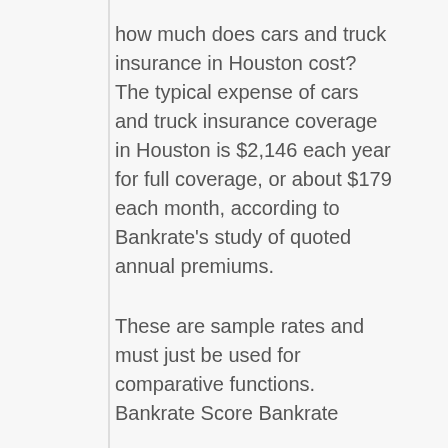how much does cars and truck insurance in Houston cost? The typical expense of cars and truck insurance coverage in Houston is $2,146 each year for full coverage, or about $179 each month, according to Bankrate's study of quoted annual premiums.
These are sample rates and must just be used for comparative functions. Bankrate Score Bankrate